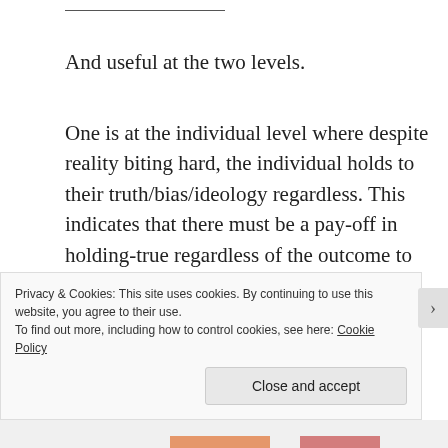And useful at the two levels.
One is at the individual level where despite reality biting hard, the individual holds to their truth/bias/ideology regardless. This indicates that there must be a pay-off in holding-true regardless of the outcome to that individual. There is probably more than one pay-off, but in reference to niche construction I’d like to suggest that by holding-firm
that social space or territory is exercised and
Privacy & Cookies: This site uses cookies. By continuing to use this website, you agree to their use.
To find out more, including how to control cookies, see here: Cookie Policy
Close and accept